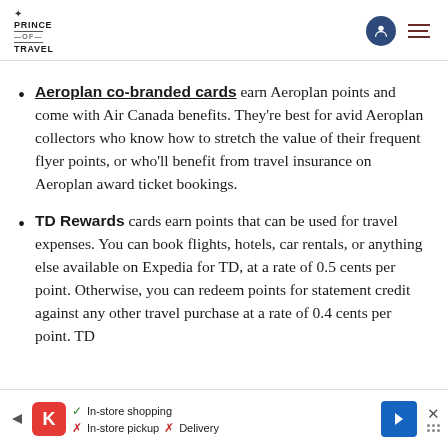Prince of Travel
Aeroplan co-branded cards earn Aeroplan points and come with Air Canada benefits. They're best for avid Aeroplan collectors who know how to stretch the value of their frequent flyer points, or who'll benefit from travel insurance on Aeroplan award ticket bookings.
TD Rewards cards earn points that can be used for travel expenses. You can book flights, hotels, car rentals, or anything else available on Expedia for TD, at a rate of 0.5 cents per point. Otherwise, you can redeem points for statement credit against any other travel purchase at a rate of 0.4 cents per point. TD